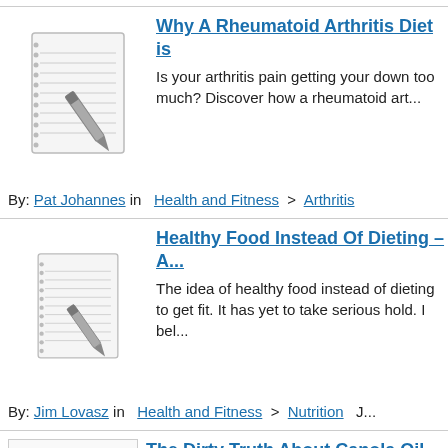[Figure (illustration): Notebook with pen icon for article 1]
Why A Rheumatoid Arthritis Diet is
Is your arthritis pain getting your down too much? Discover how a rheumatoid art...
By: Pat Johannes in  Health and Fitness  >  Arthritis
[Figure (illustration): Notebook with pen icon for article 2]
Healthy Food Instead Of Dieting – A...
The idea of healthy food instead of dieting to get fit. It has yet to take serious hold. I bel...
By: Jim Lovasz in  Health and Fitness  >  Nutrition  J...
[Figure (illustration): The Dirty Truth About Canola Oil thumbnail]
The Dirty Truth About Canola Oil
In this blog post, I will be explaining ab... why canola oil is anything but "healthy"...
By: Ervin in  Health and Fitness  >  Weight Loss   Jun...
[Figure (illustration): Notebook with pen icon for article 4]
Must - know Factors That Influence...
Must-Know Factors That Influence Yo... you go about your weight loss progra...